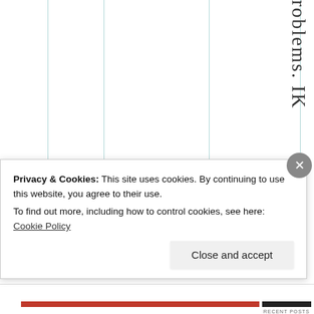[Figure (other): Table grid background with vertical teal/green lines and partial rotated text reading 'roblems. IK' in large serif font on the right side]
r o b l e m s . I K
Privacy & Cookies: This site uses cookies. By continuing to use this website, you agree to their use.
To find out more, including how to control cookies, see here: Cookie Policy
Close and accept